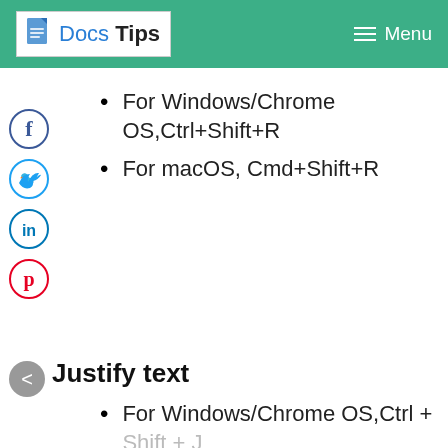Docs Tips  Menu
For Windows/Chrome OS,Ctrl+Shift+R
For macOS, Cmd+Shift+R
Justify text
For Windows/Chrome OS,Ctrl + Shift + J